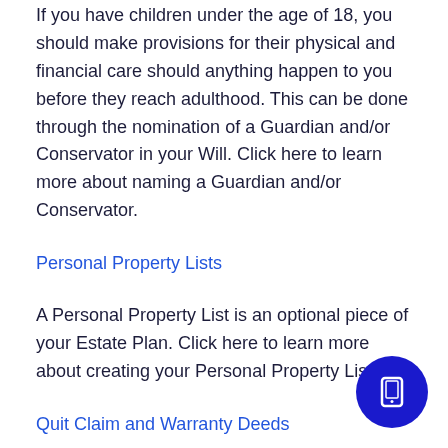If you have children under the age of 18, you should make provisions for their physical and financial care should anything happen to you before they reach adulthood. This can be done through the nomination of a Guardian and/or Conservator in your Will. Click here to learn more about naming a Guardian and/or Conservator.
Personal Property Lists
A Personal Property List is an optional piece of your Estate Plan. Click here to learn more about creating your Personal Property Lists.
Quit Claim and Warranty Deeds
A Deed is a document that transfers ownership,